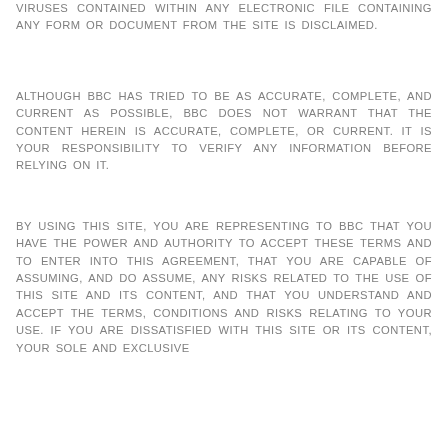VIRUSES CONTAINED WITHIN ANY ELECTRONIC FILE CONTAINING ANY FORM OR DOCUMENT FROM THE SITE IS DISCLAIMED.
ALTHOUGH BBC HAS TRIED TO BE AS ACCURATE, COMPLETE, AND CURRENT AS POSSIBLE, BBC DOES NOT WARRANT THAT THE CONTENT HEREIN IS ACCURATE, COMPLETE, OR CURRENT. IT IS YOUR RESPONSIBILITY TO VERIFY ANY INFORMATION BEFORE RELYING ON IT.
BY USING THIS SITE, YOU ARE REPRESENTING TO BBC THAT YOU HAVE THE POWER AND AUTHORITY TO ACCEPT THESE TERMS AND TO ENTER INTO THIS AGREEMENT, THAT YOU ARE CAPABLE OF ASSUMING, AND DO ASSUME, ANY RISKS RELATED TO THE USE OF THIS SITE AND ITS CONTENT, AND THAT YOU UNDERSTAND AND ACCEPT THE TERMS, CONDITIONS AND RISKS RELATING TO YOUR USE. IF YOU ARE DISSATISFIED WITH THIS SITE OR ITS CONTENT, YOUR SOLE AND EXCLUSIVE